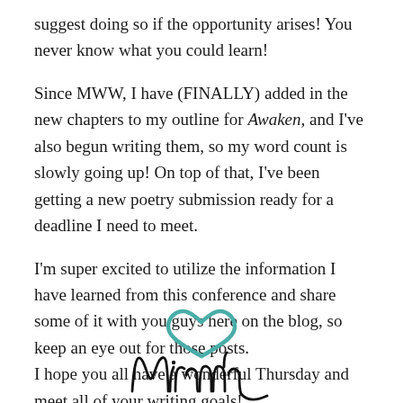suggest doing so if the opportunity arises! You never know what you could learn!
Since MWW, I have (FINALLY) added in the new chapters to my outline for Awaken, and I've also begun writing them, so my word count is slowly going up! On top of that, I've been getting a new poetry submission ready for a deadline I need to meet.
I'm super excited to utilize the information I have learned from this conference and share some of it with you guys here on the blog, so keep an eye out for those posts.
I hope you all have a wonderful Thursday and meet all of your writing goals!
[Figure (illustration): A handwritten cursive signature reading 'Miranda' with a teal/green heart shape above the letter M]